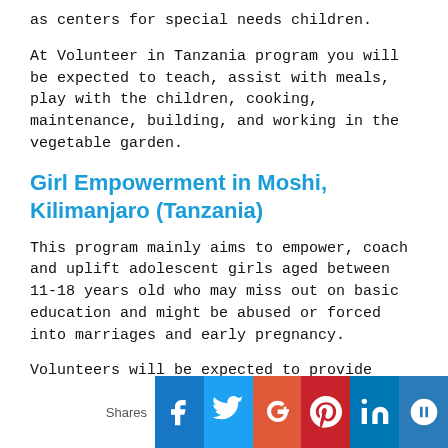as centers for special needs children.
At Volunteer in Tanzania program you will be expected to teach, assist with meals, play with the children, cooking, maintenance, building, and working in the vegetable garden.
Girl Empowerment in Moshi, Kilimanjaro (Tanzania)
This program mainly aims to empower, coach and uplift adolescent girls aged between 11-18 years old who may miss out on basic education and might be abused or forced into marriages and early pregnancy.
Volunteers will be expected to provide opportunities,
[Figure (infographic): Social sharing bar with icons for Facebook, Twitter, Google+, Pinterest, LinkedIn, and email/other, with a 'Shares' label on the left]